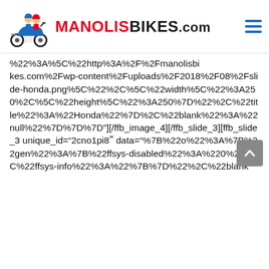[Figure (logo): Manolis Bikes logo with cartoon illustration of two riders on a scooter and text MANOLISBIKES.com]
%22%3A%5C%22http%3A%2F%2Fmanolisbikes.com%2Fwp-content%2Fuploads%2F2018%2F08%2Fslide-honda.png%5C%22%2C%5C%22width%5C%22%3A250%2C%5C%22height%5C%22%3A250%7D%22%2C%22title%22%3A%22Honda%22%7D%2C%22blank%22%3A%22null%22%7D%7D%7D”][/ffb_image_4][/ffb_slide_3][ffb_slide_3 unique_id=“2cno1pi8ʺ data=%22%7B%22o%22%3A%7B%22gen%22%3A%7B%22ffsys-disabled%22%3A%220%22%2C%22ffsys-info%22%3A%22%7B%7D%22%2C%22blank